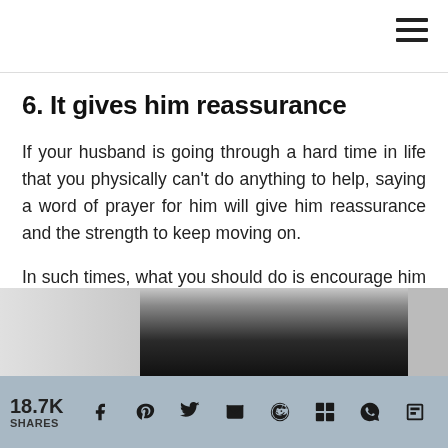6. It gives him reassurance
If your husband is going through a hard time in life that you physically can't do anything to help, saying a word of prayer for him will give him reassurance and the strength to keep moving on.
In such times, what you should do is encourage him with your words, let him know you are there for him and pray for him.
[Figure (photo): Partial photo of a person wearing a dark top, cropped at neck level, with a light blurred background]
18.7K SHARES — social sharing bar with Facebook, Pinterest, Twitter, Email, Reddit, Mix, WhatsApp, Flipboard icons